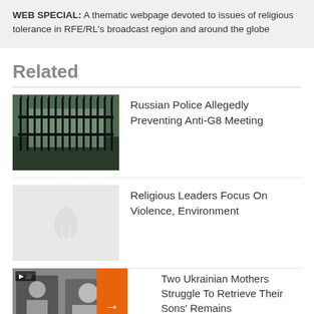WEB SPECIAL: A thematic webpage devoted to issues of religious tolerance in RFE/RL's broadcast region and around the globe
Related
Russian Police Allegedly Preventing Anti-G8 Meeting
[Figure (photo): Photo of ornate iron gates with a building visible behind them]
Religious Leaders Focus On Violence, Environment
[Figure (photo): Placeholder image with RFE/RL logo watermark]
Two Ukrainian Mothers Struggle To Retrieve Their Sons' Remains
[Figure (photo): Photo related to Ukrainian mothers story with video icon overlay]